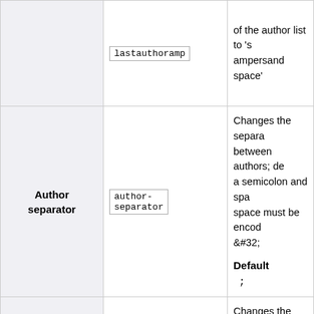| Parameter | Key | Description |
| --- | --- | --- |
|  | lastauthoramp | of the author list to 's ampersand space' |
| Author separator | author-
separator | Changes the separator between authors; defaults to a semicolon and space; space must be encoded as &#32;

Default
; |
| Author name separator | author-name-
separator | Changes the separator between last and first; defaults to a comma space; a space must be encoded as &#32;

Default |